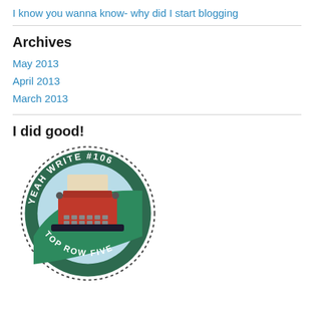I know you wanna know- why did I start blogging
Archives
May 2013
April 2013
March 2013
I did good!
[Figure (logo): Yeah Write #106 Top Row Five badge - circular badge with dotted border, green background, and a red typewriter illustration in the center]